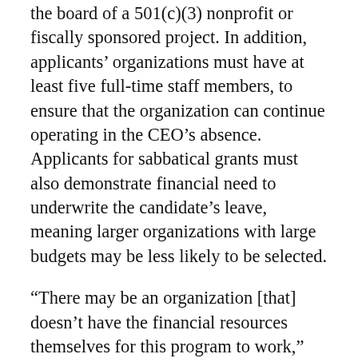the board of a 501(c)(3) nonprofit or fiscally sponsored project. In addition, applicants' organizations must have at least five full-time staff members, to ensure that the organization can continue operating in the CEO's absence. Applicants for sabbatical grants must also demonstrate financial need to underwrite the candidate's leave, meaning larger organizations with large budgets may be less likely to be selected.
“There may be an organization [that] doesn't have the financial resources themselves for this program to work,” Feldman said. “Does their executive and their entire staff deserve rest? Yes. But that doesn’t mean this model will be right for every organization.”
R&R is “operating through an equity lens,” Feldman said. Toward that end, R&R is encouraging CEOs who are